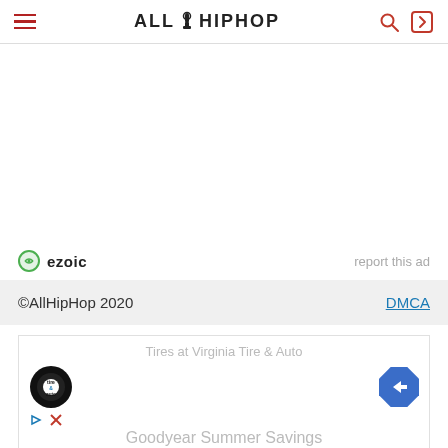ALL HIP HOP
[Figure (other): Advertisement placeholder area (blank white space for ad)]
ezoic  report this ad
©AllHipHop 2020  DMCA
[Figure (other): Ad unit: Tires at Virginia Tire & Auto / Goodyear Summer Savings with tire logo and navigation icon]